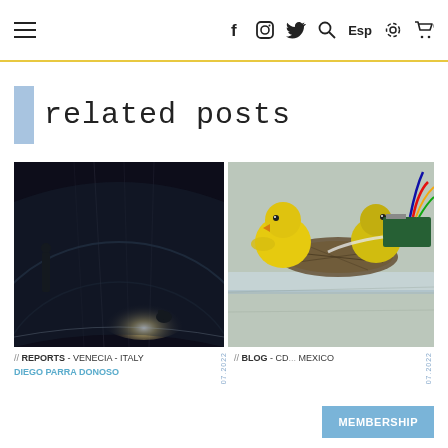≡  f  [instagram]  [twitter]  [search]  Esp  [settings]  [cart] 0
related posts
[Figure (photo): Dark installation art photo showing people inside a large transparent inflatable structure with dramatic lighting]
[Figure (photo): Close-up photo of yellow toy chick figures near a bird nest with an Arduino/electronics board and colored wires on a glass surface]
// REPORTS - VENECIA - ITALY
DIEGO PARRA DONOSO
07.2022
// BLOG - CD... MEXICO
07.2022
MEMBERSHIP